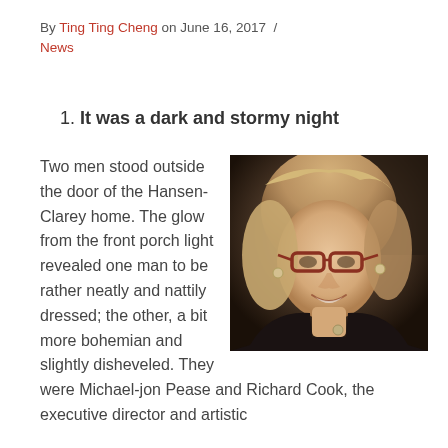By Ting Ting Cheng on June 16, 2017  /  News
1. It was a dark and stormy night
[Figure (photo): Portrait photo of a smiling woman with blonde hair, glasses, and a black top, taken in a dimly lit indoor setting.]
Two men stood outside the door of the Hansen-Clarey home. The glow from the front porch light revealed one man to be rather neatly and nattily dressed; the other, a bit more bohemian and slightly disheveled. They were Michael-jon Pease and Richard Cook, the executive director and artistic